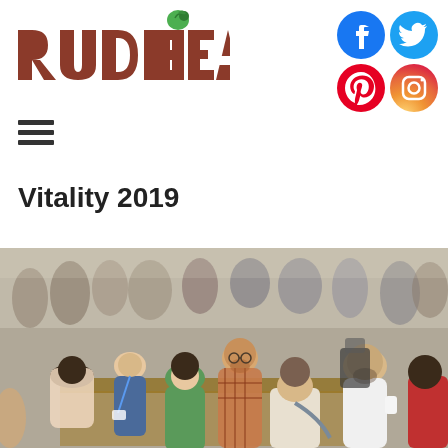[Figure (logo): Rude Health brand logo in dark red/terracotta serif font with a green apple above the letter H]
[Figure (infographic): Social media icons: Facebook (blue circle with f), Twitter (blue circle with bird), Pinterest (red circle with P), Instagram (gradient circle with camera)]
[Figure (other): Hamburger menu icon — three horizontal dark lines]
Vitality 2019
[Figure (photo): Crowded indoor exhibition/trade show floor with many people standing and networking around display tables. A bearded man in a plaid shirt is visible smiling in the center. Scene is busy with people holding cups and bags.]